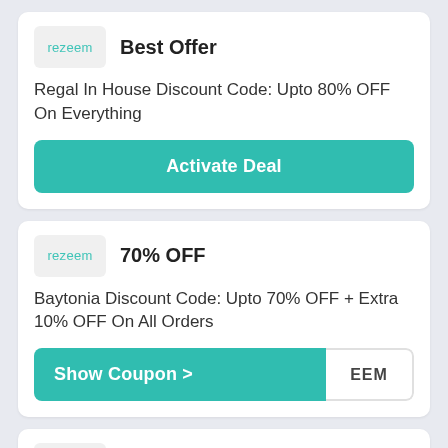[Figure (logo): Rezeem logo in light gray box]
Best Offer
Regal In House Discount Code: Upto 80% OFF On Everything
Activate Deal
[Figure (logo): Rezeem logo in light gray box]
70% OFF
Baytonia Discount Code: Upto 70% OFF + Extra 10% OFF On All Orders
Show Coupon > EEM
[Figure (logo): Rezeem logo in light gray box (partial)]
Best Offer